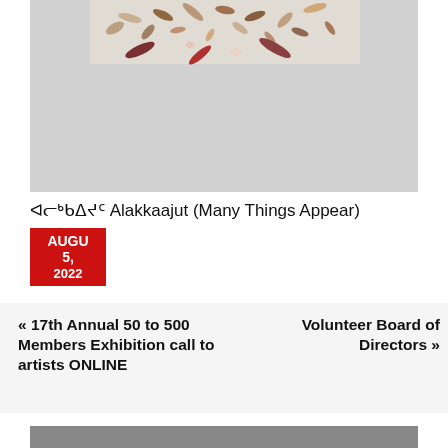[Figure (photo): Artwork photo showing seeds and small objects scattered on a light gray background. Only the top portion is visible.]
ᐊᓕᒃᑲᐃᔪᑦ Alakkaajut (Many Things Appear)
[Figure (other): Red date badge showing AUGU 5, 2022]
« 17th Annual 50 to 500 Members Exhibition call to artists ONLINE
Volunteer Board of Directors »
[Figure (photo): Bottom of page shows the top edge of another image with dark gray/charcoal background.]